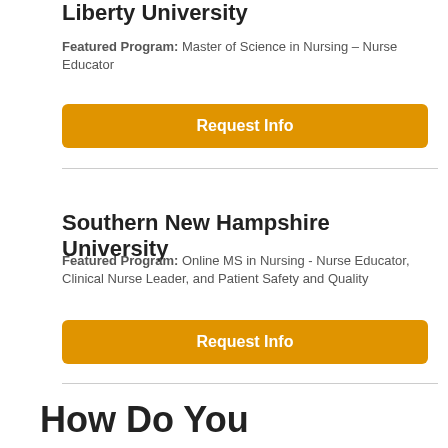Liberty University
Featured Program: Master of Science in Nursing – Nurse Educator
[Figure (other): Orange 'Request Info' button]
Southern New Hampshire University
Featured Program: Online MS in Nursing - Nurse Educator, Clinical Nurse Leader, and Patient Safety and Quality
[Figure (other): Orange 'Request Info' button]
How Do You